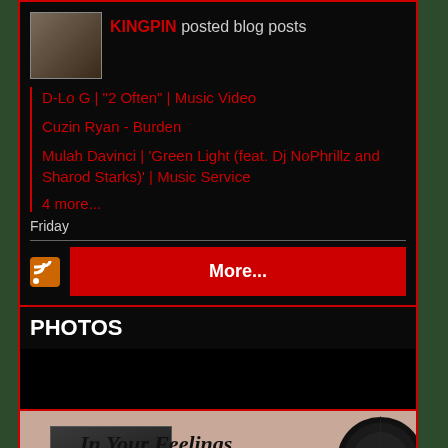KINGPIN posted blog posts
D-Lo G | "2 Often" | Music Video
Cuzin Ryan - Burden
Mulah Davinci | 'Green Light (feat. Dj NoPhrillz and Sharod Starks)' | Music Service
4 more...
Friday
More...
PHOTOS
[Figure (photo): Album cover showing 'In Your Feelings' text with vinyl record]